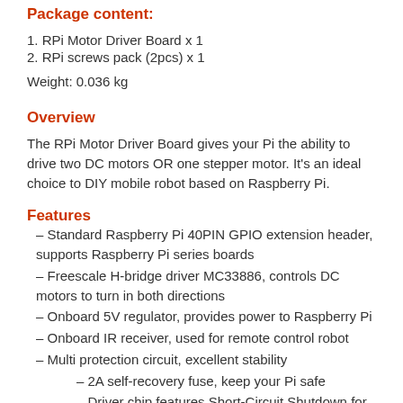Package content:
1. RPi Motor Driver Board x 1
2. RPi screws pack (2pcs) x 1
Weight: 0.036 kg
Overview
The RPi Motor Driver Board gives your Pi the ability to drive two DC motors OR one stepper motor. It’s an ideal choice to DIY mobile robot based on Raspberry Pi.
Features
– Standard Raspberry Pi 40PIN GPIO extension header, supports Raspberry Pi series boards
– Freescale H-bridge driver MC33886, controls DC motors to turn in both directions
– Onboard 5V regulator, provides power to Raspberry Pi
– Onboard IR receiver, used for remote control robot
– Multi protection circuit, excellent stability
– 2A self-recovery fuse, keep your Pi safe
– Driver chip features Short-Circuit Shutdown for Large